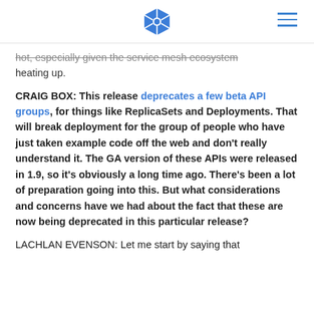[Kubernetes logo] [hamburger menu]
hot, especially given the service mesh ecosystem heating up.
CRAIG BOX: This release deprecates a few beta API groups, for things like ReplicaSets and Deployments. That will break deployment for the group of people who have just taken example code off the web and don't really understand it. The GA version of these APIs were released in 1.9, so it's obviously a long time ago. There's been a lot of preparation going into this. But what considerations and concerns have we had about the fact that these are now being deprecated in this particular release?
LACHLAN EVENSON: Let me start by saying that